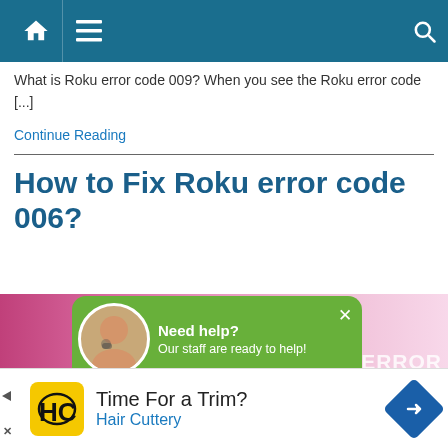Navigation bar with home, menu, and search icons
What is Roku error code 009? When you see the Roku error code [...]
Continue Reading
How to Fix Roku error code 006?
[Figure (screenshot): Pink/magenta striped background image with 'ROKU ERROR' text partially visible, overlaid by a green chat popup bubble with a headset avatar and text 'Need help? Our staff are ready to help!' with an X close button]
[Figure (infographic): Advertisement banner: Hair Cuttery logo (HC in yellow box), 'Time For a Trim?' text, 'Hair Cuttery' subtitle in blue, blue diamond navigation icon with arrow on right]